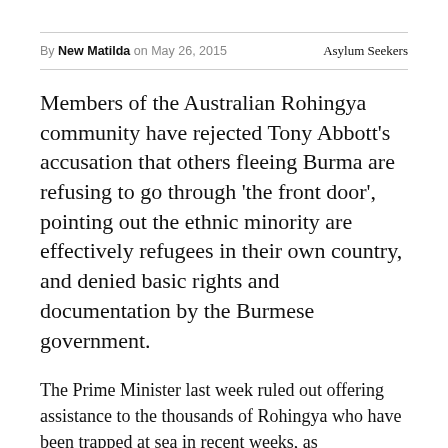By New Matilda on May 26, 2015   Asylum Seekers
Members of the Australian Rohingya community have rejected Tony Abbott’s accusation that others fleeing Burma are refusing to go through ‘the front door’, pointing out the ethnic minority are effectively refugees in their own country, and denied basic rights and documentation by the Burmese government.
The Prime Minister last week ruled out offering assistance to the thousands of Rohingya who have been trapped at sea in recent weeks, as